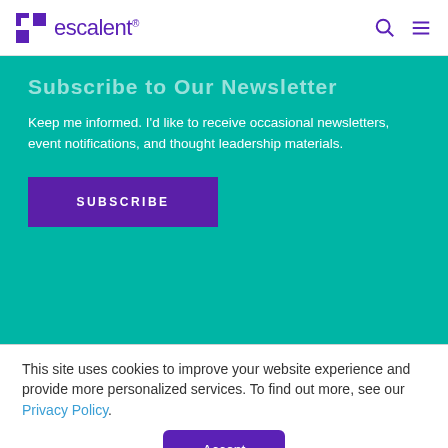escalent® [search icon] [menu icon]
Subscribe to Our Newsletter
Keep me informed. I'd like to receive occasional newsletters, event notifications, and thought leadership materials.
SUBSCRIBE
This site uses cookies to improve your website experience and provide more personalized services. To find out more, see our Privacy Policy.
Accept